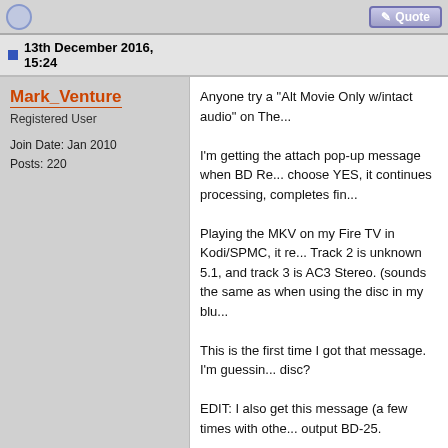13th December 2016, 15:24
Mark_Venture
Registered User
Join Date: Jan 2010
Posts: 220
Anyone try a "Alt Movie Only w/intact audio" on The...

I'm getting the attach pop-up message when BD Re... choose YES, it continues processing, completes fin...

Playing the MKV on my Fire TV in Kodi/SPMC, it re... Track 2 is unknown 5.1, and track 3 is AC3 Stereo. (sounds the same as when using the disc in my blu...

This is the first time I got that message. I'm guessin... disc?

EDIT: I also get this message (a few times with othe... output BD-25.
[Figure (screenshot): Audio Detection Mismatch dialog box. Shows warning icon and text: 'The audio type for PID 1101 determined... program information (E-AC3) does not m... (AC3). In many cases, this is caused by emulatio... detection) and the PAT/PMT type is the... Hit Yes to use the PAT/PMT type. Hit No...']